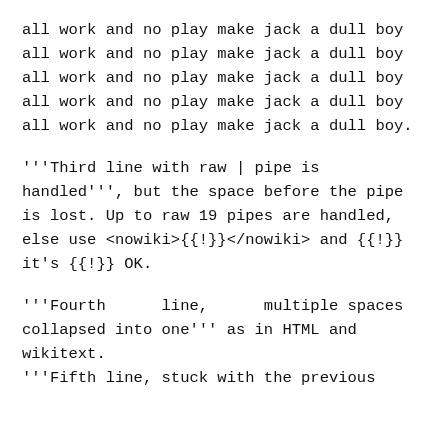all work and no play make jack a dull boy all work and no play make jack a dull boy all work and no play make jack a dull boy all work and no play make jack a dull boy all work and no play make jack a dull boy.
'''Third line with raw | pipe is handled''', but the space before the pipe is lost. Up to raw 19 pipes are handled, else use <nowiki>{{!}}</nowiki> and {{!}} it's {{!}} OK.
'''Fourth      line,      multiple spaces collapsed into one''' as in HTML and wikitext.
'''Fifth line, stuck with the previous